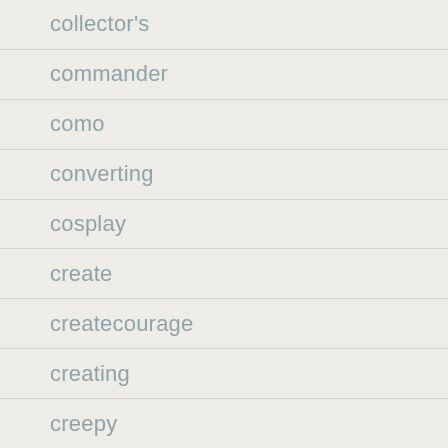collector's
commander
como
converting
cosplay
create
createcourage
creating
creepy